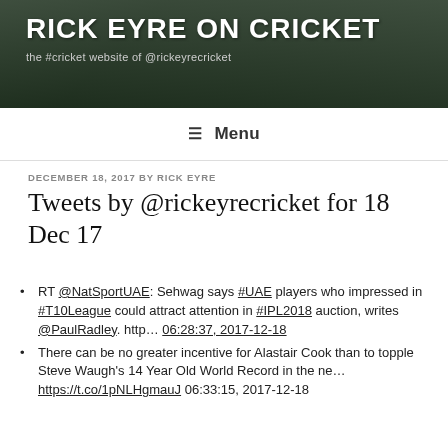RICK EYRE ON CRICKET
the #cricket website of @rickeyrecricket
≡ Menu
DECEMBER 18, 2017 BY RICK EYRE
Tweets by @rickeyrecricket for 18 Dec 17
RT @NatSportUAE: Sehwag says #UAE players who impressed in #T10League could attract attention in #IPL2018 auction, writes @PaulRadley. http… 06:28:37, 2017-12-18
There can be no greater incentive for Alastair Cook than to topple Steve Waugh's 14 Year Old World Record in the ne… https://t.co/1pNLHgmauJ 06:33:15, 2017-12-18